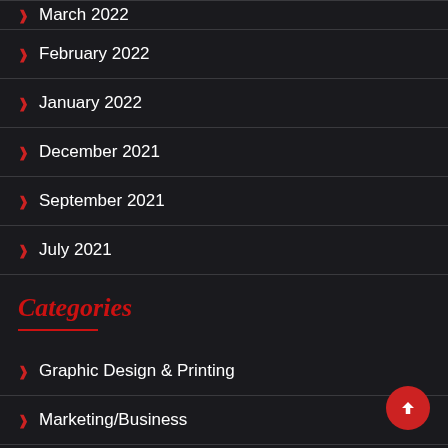March 2022
February 2022
January 2022
December 2021
September 2021
July 2021
Categories
Graphic Design & Printing
Marketing/Business